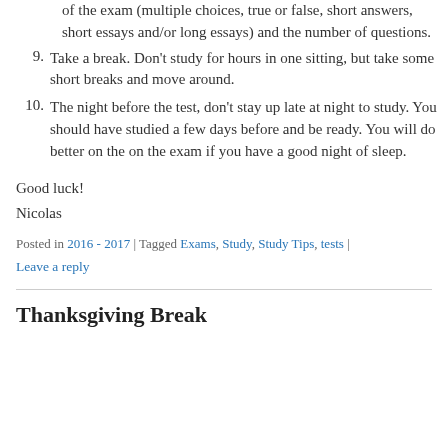of the exam (multiple choices, true or false, short answers, short essays and/or long essays) and the number of questions.
9. Take a break. Don't study for hours in one sitting, but take some short breaks and move around.
10. The night before the test, don't stay up late at night to study. You should have studied a few days before and be ready. You will do better on the on the exam if you have a good night of sleep.
Good luck!
Nicolas
Posted in 2016 - 2017 | Tagged Exams, Study, Study Tips, tests | Leave a reply
Thanksgiving Break